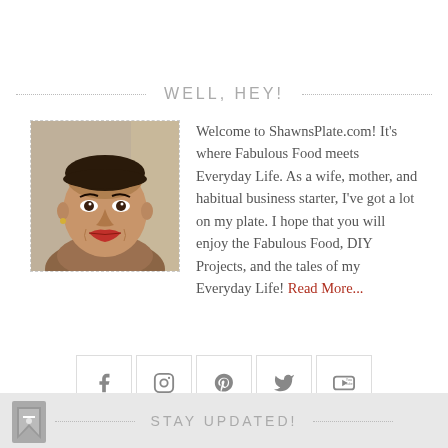WELL, HEY!
[Figure (photo): Portrait photo of a woman with short hair and red lipstick]
Welcome to ShawnsPlate.com! It's where Fabulous Food meets Everyday Life. As a wife, mother, and habitual business starter, I've got a lot on my plate. I hope that you will enjoy the Fabulous Food, DIY Projects, and the tales of my Everyday Life! Read More...
[Figure (infographic): Row of 5 social media icons: Facebook, Instagram, Pinterest, Twitter, YouTube]
STAY UPDATED!